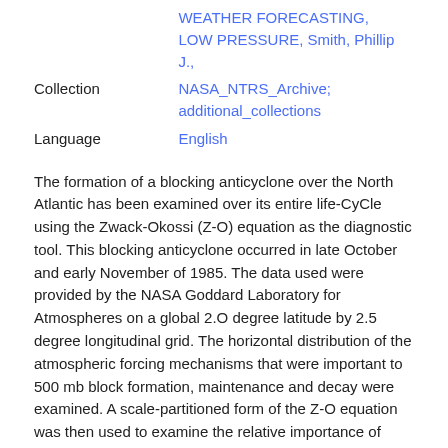|  | WEATHER FORECASTING, LOW PRESSURE, Smith, Phillip J., |
| Collection | NASA_NTRS_Archive; additional_collections |
| Language | English |
The formation of a blocking anticyclone over the North Atlantic has been examined over its entire life-CyCle using the Zwack-Okossi (Z-O) equation as the diagnostic tool. This blocking anticyclone occurred in late October and early November of 1985. The data used were provided by the NASA Goddard Laboratory for Atmospheres on a global 2.O degree latitude by 2.5 degree longitudinal grid. The horizontal distribution of the atmospheric forcing mechanisms that were important to 500 mb block formation, maintenance and decay were examined. A scale-partitioned form of the Z-O equation was then used to examine the relative importance of forcing on the planetary and synoptic scales, and their interactions. As seen in previous studies, the results presented here show that upper tropospheric anticyclonic vorticity advection was the most important contributor to block formation and maintenance.